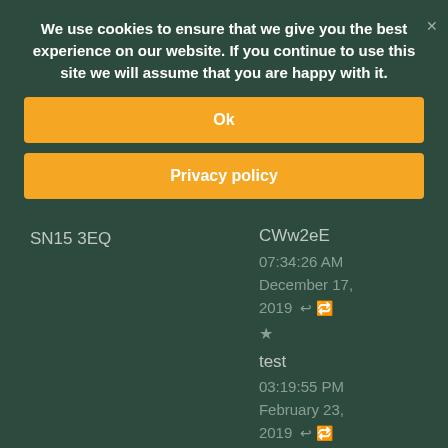We use cookies to ensure that we give you the best experience on our website. If you continue to use this site we will assume that you are happy with it.
Ok
Privacy policy
SN15 3EQ
CWw2eE
07:34:26 AM
December 17, 2019
test
03:19:55 PM
February 23, 2019